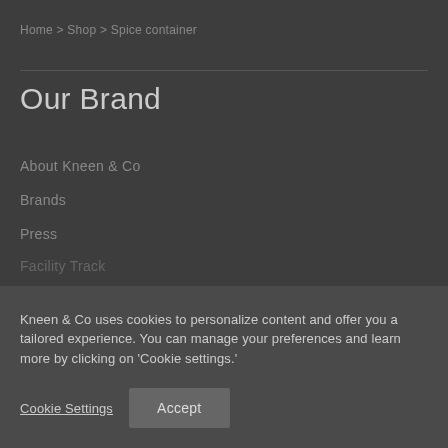Home > Shop > Spice container
Our Brand
About Kneen & Co
Brands
Press
Facility Track
Kneen & Co uses cookies to personalize content and offer you a tailored experience. You can manage your preferences and learn more by clicking on 'Cookie settings.'
Cookie Settings
Accept